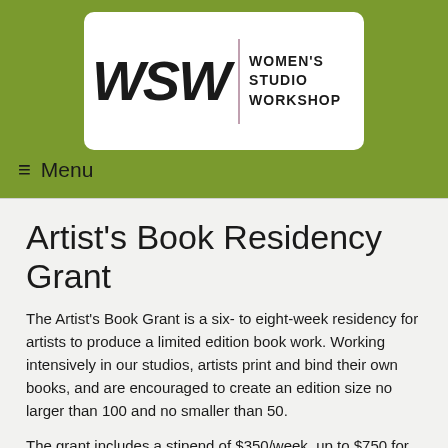[Figure (logo): Women's Studio Workshop logo: stylized WSW lettering with vertical divider and text reading WOMEN'S STUDIO WORKSHOP]
≡  Menu
Artist's Book Residency Grant
The Artist's Book Grant is a six- to eight-week residency for artists to produce a limited edition book work. Working intensively in our studios, artists print and bind their own books, and are encouraged to create an edition size no larger than 100 and no smaller than 50.
The grant includes a stipend of $350/week, up to $750 for materials, up to $250 for travel within the Continental US, free onsite housing, and 24/7 studio access. WSW can provide technical advice; training on new equipment,